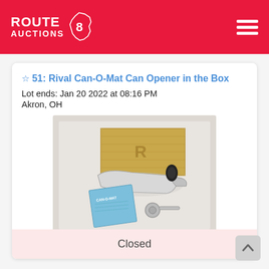ROUTE AUCTIONS 8
☆ 51: Rival Can-O-Mat Can Opener in the Box
Lot ends: Jan 20 2022 at 08:16 PM
Akron, OH
[Figure (photo): Photo of a Rival Can-O-Mat can opener in original box, showing chrome can opener, instruction booklet, and mounting hardware on white background]
Current Bid: $13.00 ♀ Shelby99
Closed